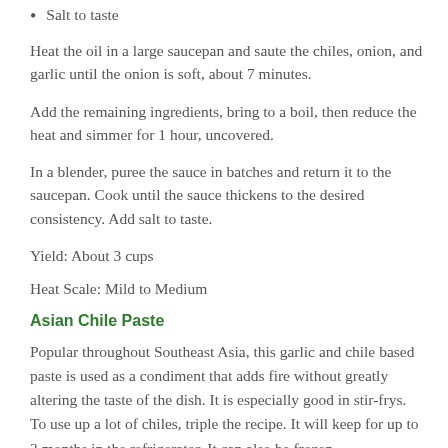Salt to taste
Heat the oil in a large saucepan and saute the chiles, onion, and garlic until the onion is soft, about 7 minutes.
Add the remaining ingredients, bring to a boil, then reduce the heat and simmer for 1 hour, uncovered.
In a blender, puree the sauce in batches and return it to the saucepan. Cook until the sauce thickens to the desired consistency. Add salt to taste.
Yield: About 3 cups
Heat Scale: Mild to Medium
Asian Chile Paste
Popular throughout Southeast Asia, this garlic and chile based paste is used as a condiment that adds fire without greatly altering the taste of the dish. It is especially good in stir-frys. To use up a lot of chiles, triple the recipe. It will keep for up to 3 months in the refrigerator. It can also be frozen.